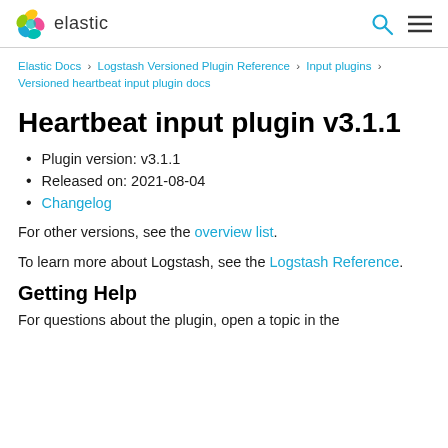elastic
Elastic Docs › Logstash Versioned Plugin Reference › Input plugins › Versioned heartbeat input plugin docs
Heartbeat input plugin v3.1.1
Plugin version: v3.1.1
Released on: 2021-08-04
Changelog
For other versions, see the overview list.
To learn more about Logstash, see the Logstash Reference.
Getting Help
For questions about the plugin, open a topic in the